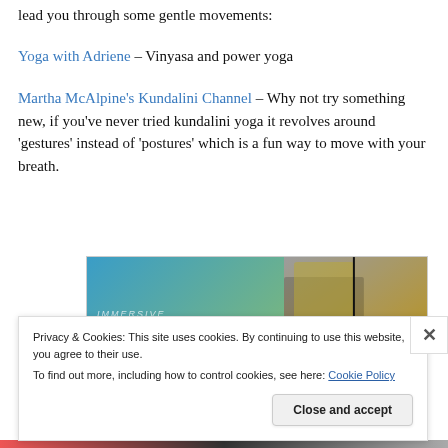check out these videos (click on the blue link) that can lead you through some gentle movements:
Yoga with Adriene – Vinyasa and power yoga
Martha McAlpine’s Kundalini Channel – Why not try something new, if you’ve never tried kundalini yoga it revolves around ‘gestures’ instead of ‘postures’ which is a fun way to move with your breath.
[Figure (advertisement): Advertisement banner showing text 'immersive stories.' on a blue-green gradient background with a photo of a person in a yellow jacket on the right side]
Privacy & Cookies: This site uses cookies. By continuing to use this website, you agree to their use.
To find out more, including how to control cookies, see here: Cookie Policy
Close and accept